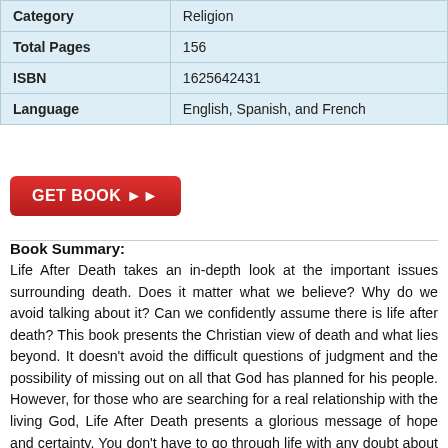|  |  |
| --- | --- |
| Category | Religion |
| Total Pages | 156 |
| ISBN | 1625642431 |
| Language | English, Spanish, and French |
GET BOOK ▶▶
Book Summary:
Life After Death takes an in-depth look at the important issues surrounding death. Does it matter what we believe? Why do we avoid talking about it? Can we confidently assume there is life after death? This book presents the Christian view of death and what lies beyond. It doesn't avoid the difficult questions of judgment and the possibility of missing out on all that God has planned for his people. However, for those who are searching for a real relationship with the living God, Life After Death presents a glorious message of hope and certainty. You don't have to go through life with any doubt about the future. On the contrary, if you are willing to